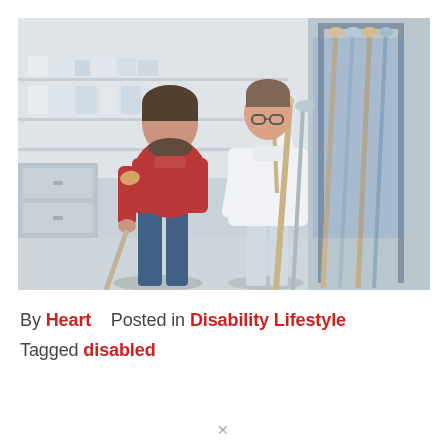[Figure (photo): A man on crutches wearing a red polo shirt and jeans stands in a pharmacy or medical supply store. A female pharmacist or medical professional in a white coat holds up a wooden crutch for him to examine. Behind them is a rack of crutches and shelves of medical supplies.]
By Heart    Posted in Disability Lifestyle Tagged disabled